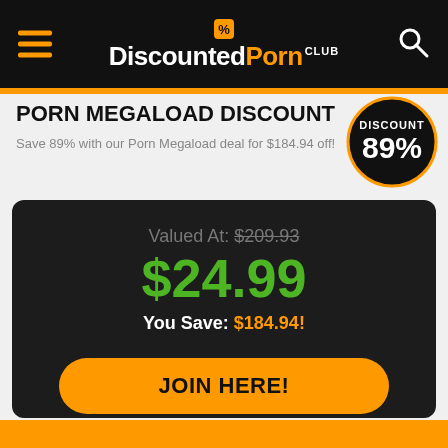DiscountedPorn CLUB
PORN MEGALOAD DISCOUNT
Save 89% with our Porn Megaload deal for $184.94 off!
[Figure (infographic): Discount badge showing 89% discount]
Valued At: $209.93
$24.99
You Save: $184.94!
JOIN HERE!
Discount Not Working?